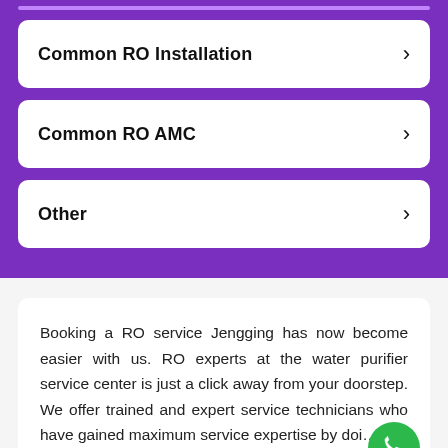Common RO Installation
Common RO AMC
Other
Booking a RO service Jengging has now become easier with us. RO experts at the water purifier service center is just a click away from your doorstep. We offer trained and expert service technicians who have gained maximum service expertise by doi…
Read more >